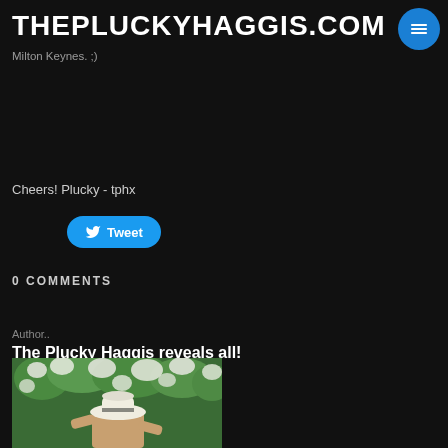THEPLUCKYHAGGIS.COM
on Facebook or LemonRock and come along for a grand night of Live Entertainment & Music... 'in a little town they call'.. Newport Pagnell, Milton Keynes. ;)
Cheers! Plucky - tphx
Tweet
0 COMMENTS
Author..
The Plucky Haggis reveals all!
[Figure (photo): Person wearing a white hat viewed from behind, surrounded by white flowering bushes or trees]